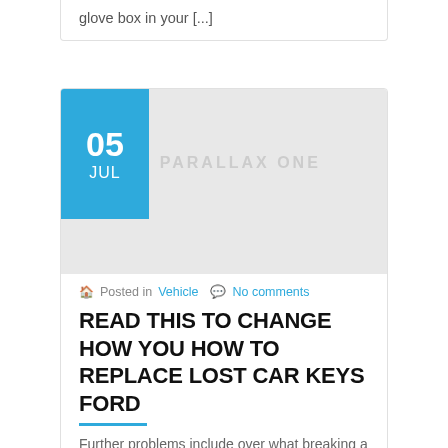glove box in your [...]
[Figure (other): Blog post featured image placeholder with blue date badge showing 05 JUL and a light grey image area with PARALLAX ONE watermark]
Posted in Vehicle  No comments
READ THIS TO CHANGE HOW YOU HOW TO REPLACE LOST CAR KEYS FORD
Further problems include over what breaking a